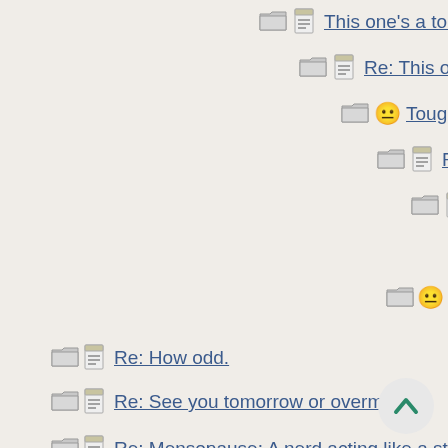This one's a toughie.
Re: This one's a toughie.
Tougher still...
Re: Tougher still...
Re: Tougher still...
Re: Tougher still...
Re: Tougher still...
See you tomorrow or overmo
Re: How odd.
Re: See you tomorrow or overmorrow
Re: Mensopause: A nerd acting like a stud for effect.